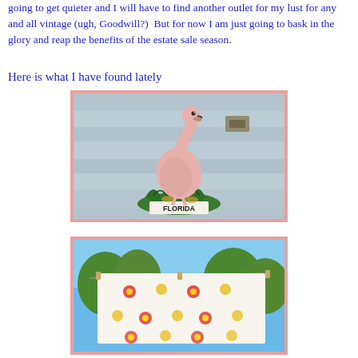going to get quieter and I will have to find another outlet for my lust for any and all vintage (ugh, Goodwill?)  But for now I am just going to bask in the glory and reap the benefits of the estate sale season.
Here is what I have found lately
[Figure (photo): A ceramic pink flamingo figurine standing on a green base labeled FLORIDA, placed on a weathered wooden surface.]
[Figure (photo): A vintage floral tablecloth hanging on a clothesline outdoors with trees and blue sky in the background.]